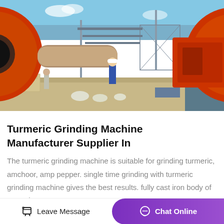[Figure (photo): Industrial site with large orange cylindrical grinding/rotary kiln machines on either side, workers in hard hats, metal scaffolding and structures in background, blue sky.]
Turmeric Grinding Machine Manufacturer Supplier In
The turmeric grinding machine is suitable for grinding turmeric, amchoor, amp pepper. single time grinding with turmeric grinding machine gives the best results. fully cast iron body of turmeric
Leave Message  Chat Online